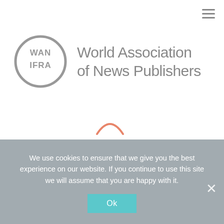[Figure (logo): WAN-IFRA (World Association of News Publishers) circular logo in grey with text 'WAN IFRA' inside a circle, followed by full organization name in grey]
[Figure (other): Teal/orange loading spinner arc]
Log In
We use cookies to ensure that we give you the best experience on our website. If you continue to use this site we will assume that you are happy with it.
Ok